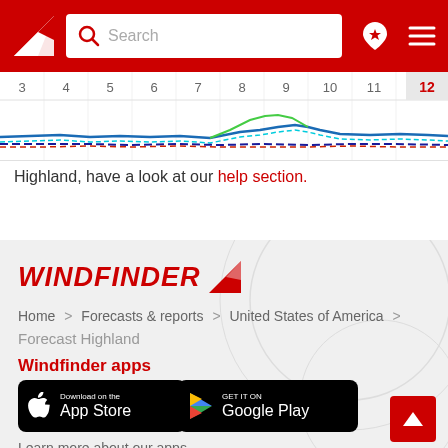[Figure (screenshot): Windfinder app header with red background, logo, search bar, location pin icon, and hamburger menu icon]
[Figure (continuous-plot): Wind forecast chart strip showing time axis labels 3 through 12 (12 highlighted in red), with colored lines (blue, cyan, green) representing wind data over time]
Highland, have a look at our help section.
[Figure (logo): WINDFINDER logo in red italic bold text with red triangle arrow icon]
Home > Forecasts & reports > United States of America > Forecast Highland
Windfinder apps
[Figure (screenshot): Download on the App Store button (black, Apple logo)]
[Figure (screenshot): Get it on Google Play button (black, Google Play triangle logo)]
Learn more about our apps